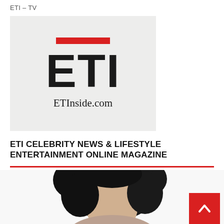ETI – TV
[Figure (logo): ETI logo on grey background with red horizontal bar above large bold 'ETI' text and 'ETInside.com' below]
ETI CELEBRITY NEWS & LIFESTYLE ENTERTAINMENT ONLINE MAGAZINE
[Figure (photo): Black and white photo of a woman with curly hair, cropped at top of frame]
[Figure (other): Red square back-to-top button with white upward chevron arrow]